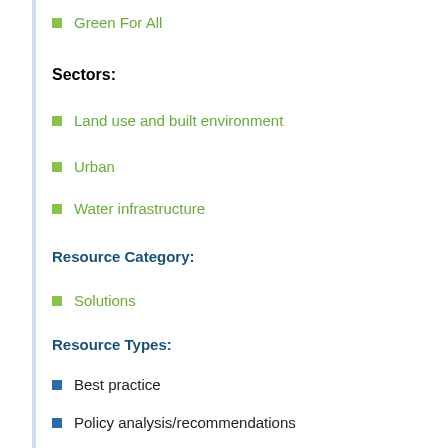Green For All
Sectors:
Land use and built environment
Urban
Water infrastructure
Resource Category:
Solutions
Resource Types:
Best practice
Policy analysis/recommendations
States Affected:
District of Columbia